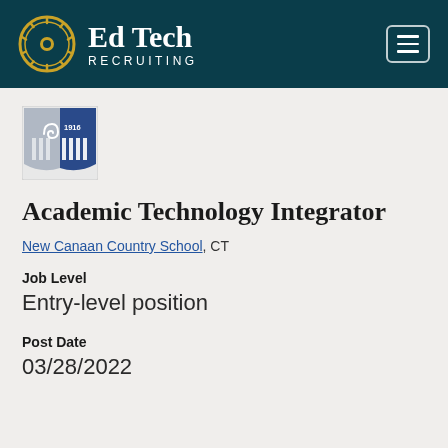Ed Tech RECRUITING
[Figure (logo): New Canaan Country School crest logo, 1916, blue and silver shield with spiral and vertical bars]
Academic Technology Integrator
New Canaan Country School, CT
Job Level
Entry-level position
Post Date
03/28/2022